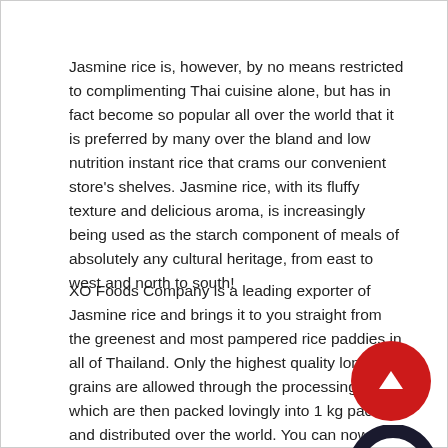Jasmine rice is, however, by no means restricted to complimenting Thai cuisine alone, but has in fact become so popular all over the world that it is preferred by many over the bland and low nutrition instant rice that crams our convenient store's shelves. Jasmine rice, with its fluffy texture and delicious aroma, is increasingly being used as the starch component of meals of absolutely any cultural heritage, from east to west and north to south!
XO Foods Company is a leading exporter of Jasmine rice and brings it to you straight from the greenest and most pampered rice paddies in all of Thailand. Only the highest quality long grains are allowed through the processing plant, which are then packed lovingly into 1 kg packets and distributed over the world. You can now purchase your product online and get cooking with this incredibly easy to prepare product the credit is all yours...
[Figure (illustration): Red circle button with white upward-pointing triangle (play/up arrow) icon]
[Figure (illustration): Dark navy/black ring shape (donut/circle outline) icon]